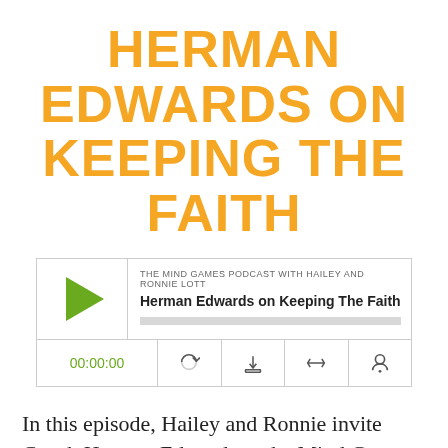HERMAN EDWARDS ON KEEPING THE FAITH
[Figure (screenshot): Podcast player widget showing 'THE MIND GAMES PODCAST WITH HAILEY AND RONNIE LOTT' with episode title 'Herman Edwards on Keeping The Faith', a green play button, progress bar, time display 00:00:00, and control icons for subscribe, download, embed, and share.]
In this episode, Hailey and Ronnie invite Coach Herman Edwards to the Mind Games podcast. With that, they say that the...